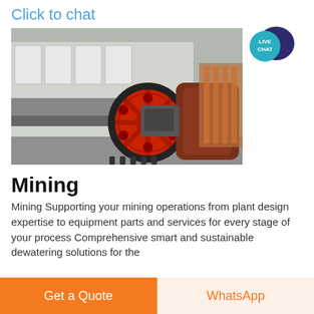Click to chat
[Figure (photo): Industrial mining conveyor belt machine with a large red wheel/pulley and brown drum, set in a factory or industrial yard. Multiple white hopper units visible in the background.]
[Figure (logo): Live Chat speech bubble badge in teal/dark blue colors with text 'LIVE CHAT']
Mining
Mining Supporting your mining operations from plant design expertise to equipment parts and services for every stage of your process Comprehensive smart and sustainable dewatering solutions for the
Get a Quote | WhatsApp